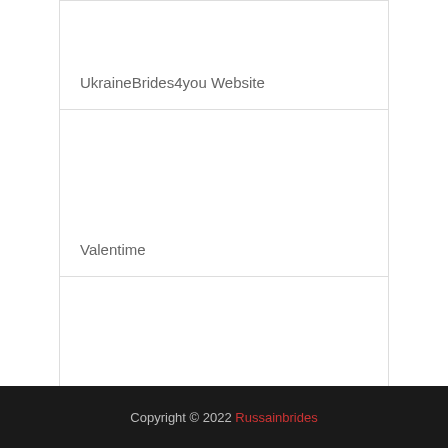UkraineBrides4you Website
Valentime
Find Russia Brides
Copyright © 2022 Russainbrides